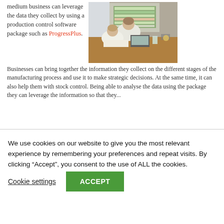medium business can leverage the data they collect by using a production control software package such as ProgressPlus.
[Figure (photo): Two people sitting at a desk looking at a laptop, with a projection screen showing a spreadsheet or table in the background.]
Businesses can bring together the information they collect on the different stages of the manufacturing process and use it to make strategic decisions. At the same time, it can also help them with stock control. Being able to analyse the data using the package they can leverage the information so that they...
We use cookies on our website to give you the most relevant experience by remembering your preferences and repeat visits. By clicking “Accept”, you consent to the use of ALL the cookies.
Cookie settings
ACCEPT